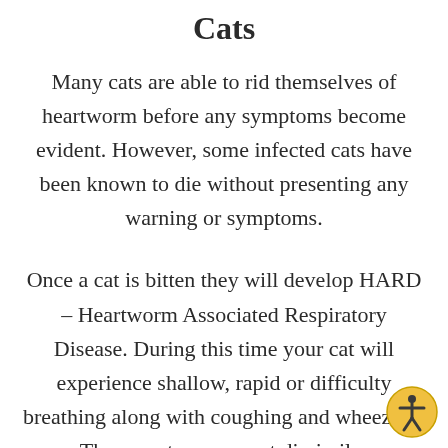Cats
Many cats are able to rid themselves of heartworm before any symptoms become evident. However, some infected cats have been known to die without presenting any warning or symptoms.
Once a cat is bitten they will develop HARD – Heartworm Associated Respiratory Disease. During this time your cat will experience shallow, rapid or difficulty breathing along with coughing and wheezing. The symptoms are not dissimilar